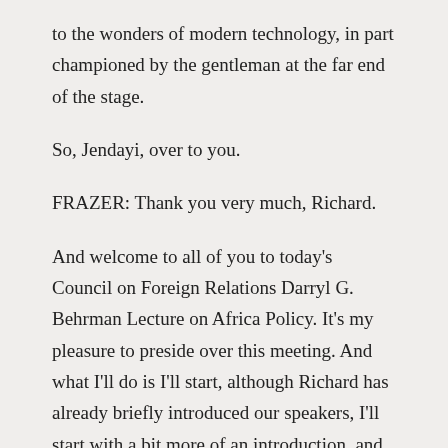to the wonders of modern technology, in part championed by the gentleman at the far end of the stage.
So, Jendayi, over to you.
FRAZER: Thank you very much, Richard.
And welcome to all of you to today's Council on Foreign Relations Darryl G. Behrman Lecture on Africa Policy. It's my pleasure to preside over this meeting. And what I'll do is I'll start, although Richard has already briefly introduced our speakers, I'll start with a bit more of an introduction, and then we'll engage the three of us in about 25 minutes of conversation, and then I'll go back to the members